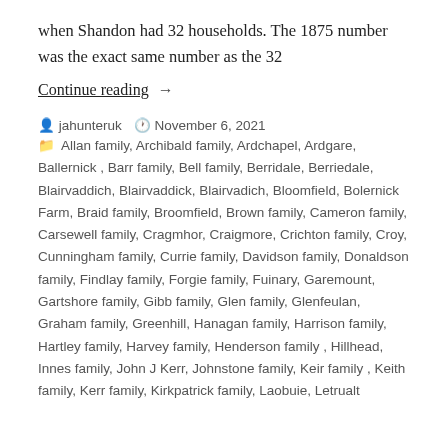when Shandon had 32 households. The 1875 number was the exact same number as the 32
Continue reading →
jahunteruk   November 6, 2021
Allan family, Archibald family, Ardchapel, Ardgare, Ballernick, Barr family, Bell family, Berridale, Berriedale, Blairvaddich, Blairvaddick, Blairvadich, Bloomfield, Bolernick Farm, Braid family, Broomfield, Brown family, Cameron family, Carsewell family, Cragmhor, Craigmore, Crichton family, Croy, Cunningham family, Currie family, Davidson family, Donaldson family, Findlay family, Forgie family, Fuinary, Garemount, Gartshore family, Gibb family, Glen family, Glenfeulan, Graham family, Greenhill, Hanagan family, Harrison family, Hartley family, Harvey family, Henderson family, Hillhead, Innes family, John J Kerr, Johnstone family, Keir family, Keith family, Kerr family, Kirkpatrick family, Laobuie, Letrualt